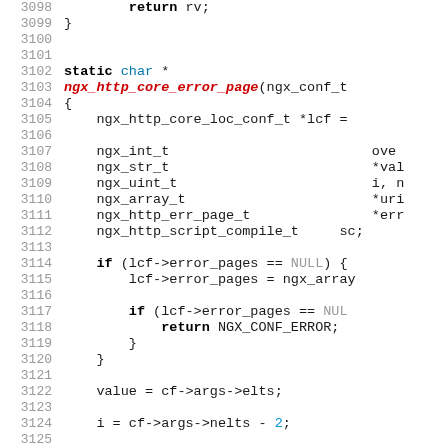Source code listing lines 3098-3127 of nginx HTTP core module, showing ngx_http_core_error_page function definition and variable declarations.